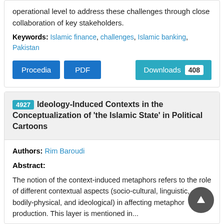operational level to address these challenges through close collaboration of key stakeholders.
Keywords: Islamic finance, challenges, Islamic banking, Pakistan
Procedia  PDF  Downloads 408
4927 Ideology-Induced Contexts in the Conceptualization of 'the Islamic State' in Political Cartoons
Authors: Rim Baroudi
Abstract:
The notion of the context-induced metaphors refers to the role of different contextual aspects (socio-cultural, linguistic, bodily-physical, and ideological) in affecting metaphor production. This layer is mentioned in...